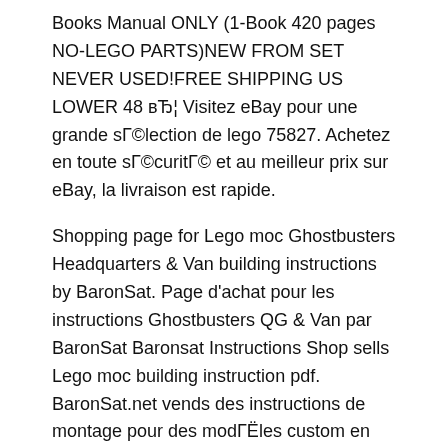Books Manual ONLY (1-Book 420 pages NO-LEGO PARTS)NEW FROM SET NEVER USED!FREE SHIPPING US LOWER 48 вЂ¦ Visitez eBay pour une grande sГ©lection de lego 75827. Achetez en toute sГ©curitГ© et au meilleur prix sur eBay, la livraison est rapide.
Shopping page for Lego moc Ghostbusters Headquarters & Van building instructions by BaronSat. Page d'achat pour les instructions Ghostbusters QG & Van par BaronSat Baronsat Instructions Shop sells Lego moc building instruction pdf. BaronSat.net vends des instructions de montage pour des modГЁles custom en briques Lego au format pdf Visitez eBay pour une grande sГ©lection de lego 75827. Achetez en toute sГ©curitГ© et au meilleur prix sur eBay, la livraison est rapide.
The Ghostbusters Headquarters is the iconic building from the Ghostbusters movies. This modular scale LEGO version of